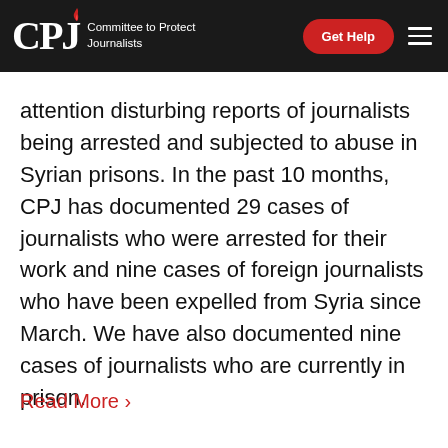CPJ – Committee to Protect Journalists | Get Help
attention disturbing reports of journalists being arrested and subjected to abuse in Syrian prisons. In the past 10 months, CPJ has documented 29 cases of journalists who were arrested for their work and nine cases of foreign journalists who have been expelled from Syria since March. We have also documented nine cases of journalists who are currently in prison.
Read More ›